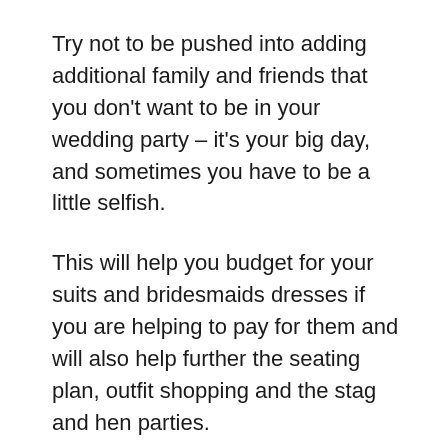Try not to be pushed into adding additional family and friends that you don't want to be in your wedding party – it's your big day, and sometimes you have to be a little selfish.
This will help you budget for your suits and bridesmaids dresses if you are helping to pay for them and will also help further the seating plan, outfit shopping and the stag and hen parties.
Suppliers & Vendors